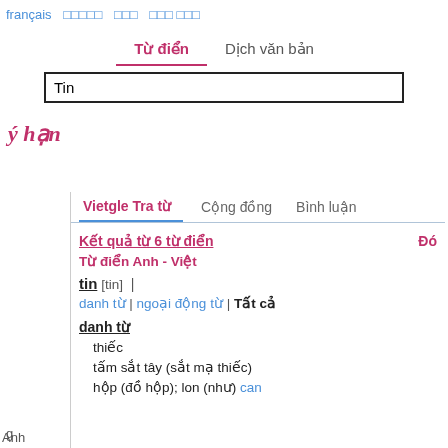français  □□□□□  □□□  □□□ □□□
Từ điển   Dịch văn bản
Tin
ý hạn
Vietgle Tra từ   Cộng đồng   Bình luận
Kết quả từ 6 từ điển
Từ điển Anh - Việt
tin [tin]  |
danh từ | ngoại động từ | Tất cả
danh từ
thiếc
tấm sắt tây (sắt mạ thiếc)
hộp (đồ hộp); lon (như) can